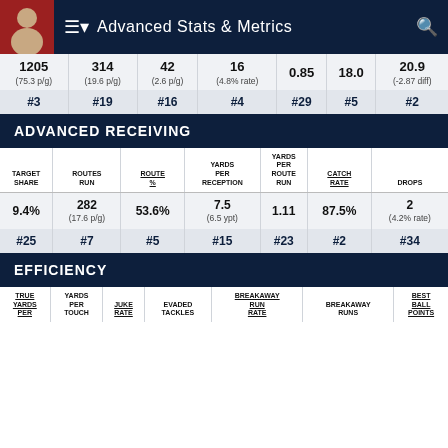Advanced Stats & Metrics
| 1205 (75.3 p/g) | 314 (19.6 p/g) | 42 (2.6 p/g) | 16 (4.8% rate) | 0.85 | 18.0 | 20.9 (-2.87 diff) |
| --- | --- | --- | --- | --- | --- | --- |
| #3 | #19 | #16 | #4 | #29 | #5 | #2 |
ADVANCED RECEIVING
| TARGET SHARE | ROUTES RUN | ROUTE % | YARDS PER RECEPTION | YARDS PER ROUTE RUN | CATCH RATE | DROPS |
| --- | --- | --- | --- | --- | --- | --- |
| 9.4% | 282 (17.6 p/g) | 53.6% | 7.5 (6.5 ypt) | 1.11 | 87.5% | 2 (4.2% rate) |
| #25 | #7 | #5 | #15 | #23 | #2 | #34 |
EFFICIENCY
| TRUE YARDS PER | YARDS PER TOUCH | JUKE RATE | EVADED TACKLES | BREAKAWAY RUN RATE | BREAKAWAY RUNS | BEST BALL POINTS |
| --- | --- | --- | --- | --- | --- | --- |